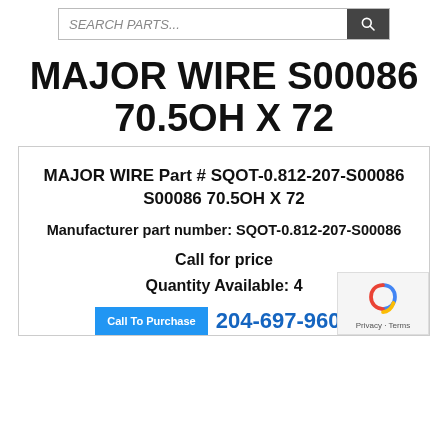SEARCH PARTS...
MAJOR WIRE S00086 70.5OH X 72
MAJOR WIRE Part # SQOT-0.812-207-S00086 S00086 70.5OH X 72
Manufacturer part number: SQOT-0.812-207-S00086
Call for price
Quantity Available: 4
Call To Purchase  204-697-9600